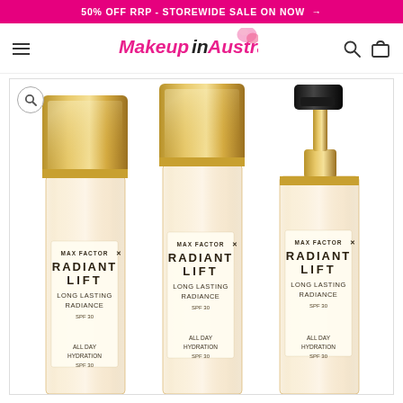50% OFF RRP - STOREWIDE SALE ON NOW →
[Figure (logo): MakeupinAustralia website logo with pink floral motif]
[Figure (photo): Three bottles of Max Factor Radiant Lift Long Lasting Radiance SPF 30 All Day Hydration foundation. Left and center bottles have large gold rectangular caps, right bottle has a black pump top with gold collar. All bottles contain a light beige foundation.]